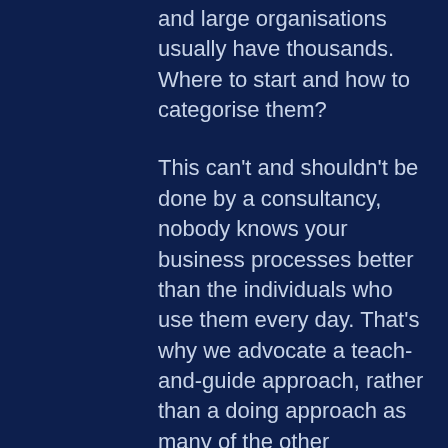and large organisations usually have thousands. Where to start and how to categorise them?
This can't and shouldn't be done by a consultancy, nobody knows your business processes better than the individuals who use them every day. That's why we advocate a teach-and-guide approach, rather than a doing approach as many of the other consultancies will offer.
We will teach your subject matter experts how to view their processes through the lens of robotic process automation, furthermore, we provide a framework to capture automation opportunities in a standardised form.